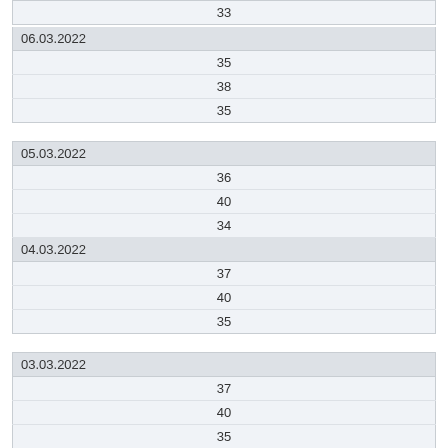| 33 |
| 06.03.2022 |
| 35 |
| 38 |
| 35 |
| 05.03.2022 |
| 36 |
| 40 |
| 34 |
| 04.03.2022 |
| 37 |
| 40 |
| 35 |
| 03.03.2022 |
| 37 |
| 40 |
| 35 |
| 02.03.2022 |